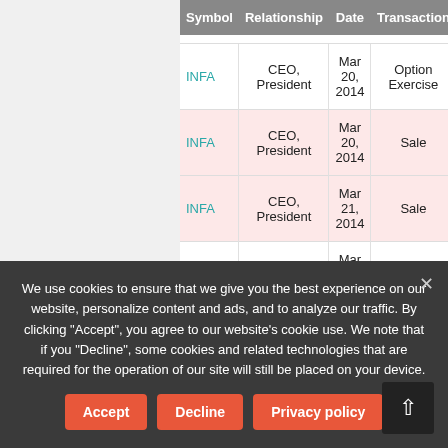| Symbol | Relationship | Date | Transaction | Cost |
| --- | --- | --- | --- | --- |
| INFA | CEO, President | Mar 20, 2014 | Option Exercise | $5.69 |
| INFA | CEO, President | Mar 20, 2014 | Sale | $39.37 |
| INFA | CEO, President | Mar 21, 2014 | Sale | $39.64 |
| INFA | CEO, President | Mar 19, 2014 | Option Exercise | $5.69 |
| INFA | CEO, | Mar 18, 2014 | Option | $5.69 |
We use cookies to ensure that we give you the best experience on our website, personalize content and ads, and to analyze our traffic. By clicking "Accept", you agree to our website's cookie use. We note that if you "Decline", some cookies and related technologies that are required for the operation of our site will still be placed on your device.